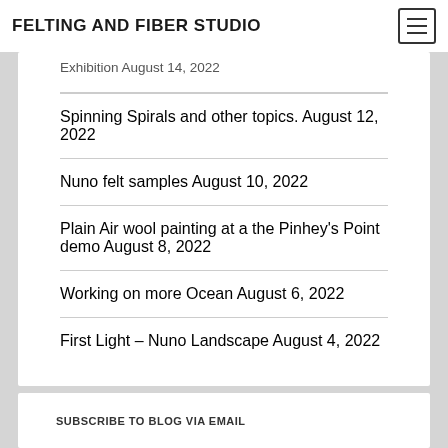FELTING AND FIBER STUDIO
Exhibition August 14, 2022
Spinning Spirals and other topics. August 12, 2022
Nuno felt samples August 10, 2022
Plain Air wool painting at a the Pinhey's Point demo August 8, 2022
Working on more Ocean August 6, 2022
First Light – Nuno Landscape August 4, 2022
SUBSCRIBE TO BLOG VIA EMAIL